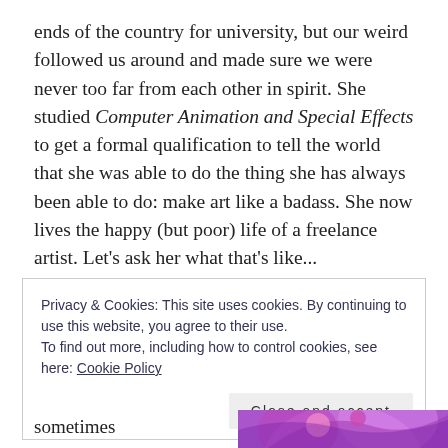ends of the country for university, but our weird followed us around and made sure we were never too far from each other in spirit. She studied Computer Animation and Special Effects to get a formal qualification to tell the world that she was able to do the thing she has always been able to do: make art like a badass. She now lives the happy (but poor) life of a freelance artist. Let's ask her what that's like...
Privacy & Cookies: This site uses cookies. By continuing to use this website, you agree to their use.
To find out more, including how to control cookies, see here: Cookie Policy
Close and accept
sometimes
[Figure (illustration): Partial illustration of a cartoon/animated character, appearing to be a purple/pink colored figure, visible at the bottom right corner of the page]